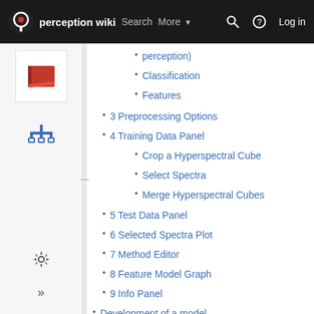perception wiki — Search More — Log in
perception)
Classification
Features
3 Preprocessing Options
4 Training Data Panel
Crop a Hyperspectral Cube
Select Spectra
Merge Hyperspectral Cubes
5 Test Data Panel
6 Selected Spectra Plot
7 Method Editor
8 Feature Model Graph
9 Info Panel
Development of a model
Applying an existent model to new hyperspectral data
CCI Preview Method
CCI Extract Method
CCI Correlate Method